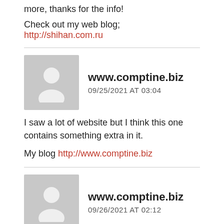more, thanks for the info!
Check out my web blog; http://shihan.com.ru
www.comptine.biz
09/25/2021 AT 03:04
I saw a lot of website but I think this one contains something extra in it.
My blog http://www.comptine.biz
www.comptine.biz
09/26/2021 AT 02:12
Dead pent content, thanks for information.
Feel free to visit my page; http://www.comptine.biz